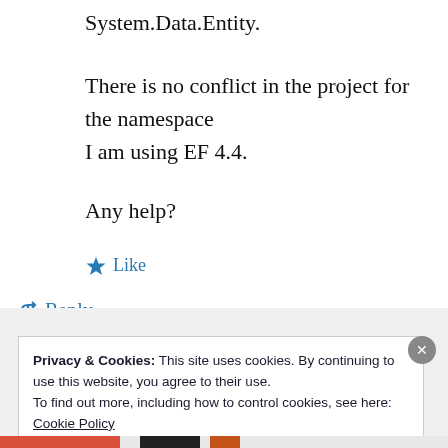System.Data.Entity.
There is no conflict in the project for the namespace
I am using EF 4.4.
Any help?
★ Like
↪ Reply
Privacy & Cookies: This site uses cookies. By continuing to use this website, you agree to their use.
To find out more, including how to control cookies, see here: Cookie Policy
Close and accept